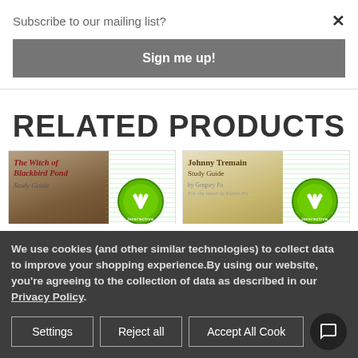Subscribe to our mailing list?
Sign me up!
RELATED PRODUCTS
[Figure (photo): Product card for The Witch of Blackbird Pond Study Guide with green interactive download icon]
[Figure (photo): Product card for Johnny Tremain Study Guide with green interactive download icon]
We use cookies (and other similar technologies) to collect data to improve your shopping experience.By using our website, you're agreeing to the collection of data as described in our Privacy Policy.
Settings
Reject all
Accept All Cookies